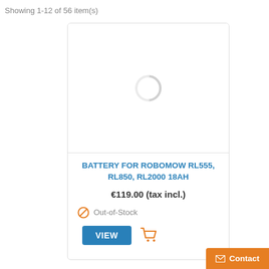Showing 1-12 of 56 item(s)
[Figure (screenshot): Product card showing a battery product with a loading spinner image placeholder, product title, price, out-of-stock status, and view/cart buttons]
BATTERY FOR ROBOMOW RL555, RL850, RL2000 18AH
€119.00 (tax incl.)
Out-of-Stock
Contact